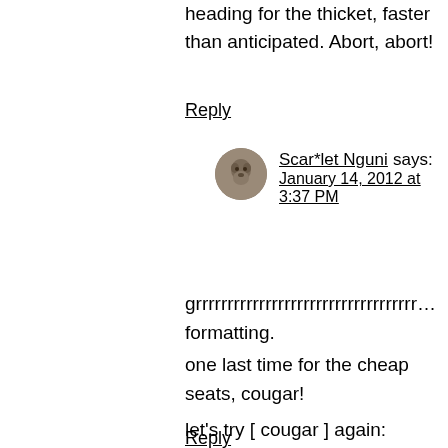heading for the thicket, faster than anticipated. Abort, abort!
Reply
Scar*let Nguni says:
January 14, 2012 at 3:37 PM
grrrrrrrrrrrrrrrrrrrrrrrrrrrrrrrrrrr… formatting. one last time for the cheap seats, cougar!

let's try [ cougar ] again:

… hunger …
>>> prey!
!! KILL !!
Reply